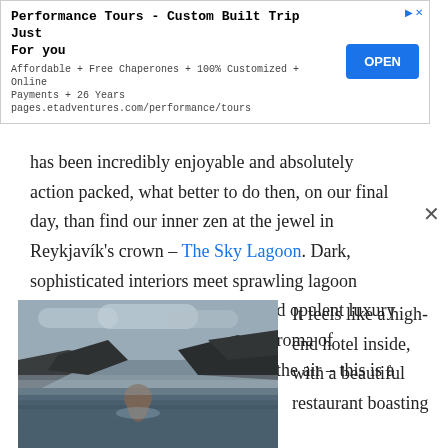[Figure (other): Advertisement banner for Performance Tours - Custom Built Trip Just For You. Shows title, subtitle text, and a blue OPEN button.]
has been incredibly enjoyable and absolutely action packed, what better to do then, on our final day, than find our inner zen at the jewel in Reykjavík's crown – The Sky Lagoon. Dark, sophisticated interiors meet sprawling lagoon pools and cascading waterfalls, and opulent luxury hotel vibes give way to the fresh aroma of Icelandic spring which permeates the air – this is a place and a half.
[Figure (photo): A person wading in a misty geothermal lagoon surrounded by dark volcanic rocks under a cloudy sky.]
It feels like a high-end hotel inside, with a beautiful restaurant boasting